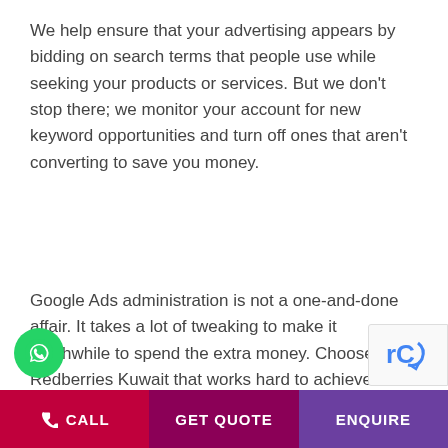We help ensure that your advertising appears by bidding on search terms that people use while seeking your products or services. But we don't stop there; we monitor your account for new keyword opportunities and turn off ones that aren't converting to save you money.
Google Ads administration is not a one-and-done affair. It takes a lot of tweaking to make it worthwhile to spend the extra money. Choose Redberries Kuwait that works hard to achieve excellent outcomes.
Regularly our team
Take the time to learn about your company and what you want to focus on each month.
CALL | GET QUOTE | ENQUIRE